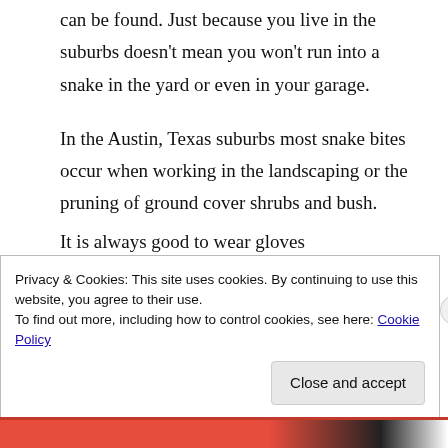can be found. Just because you live in the suburbs doesn't mean you won't run into a snake in the yard or even in your garage.
In the Austin, Texas suburbs most snake bites occur when working in the landscaping or the pruning of ground cover shrubs and bush.
It is always good to wear gloves
Privacy & Cookies: This site uses cookies. By continuing to use this website, you agree to their use.
To find out more, including how to control cookies, see here: Cookie Policy